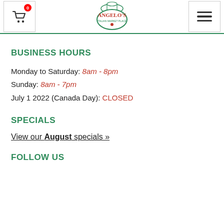Angelo's - header with cart, logo, and hamburger menu
BUSINESS HOURS
Monday to Saturday: 8am - 8pm
Sunday: 8am - 7pm
July 1 2022 (Canada Day): CLOSED
SPECIALS
View our August specials »
FOLLOW US